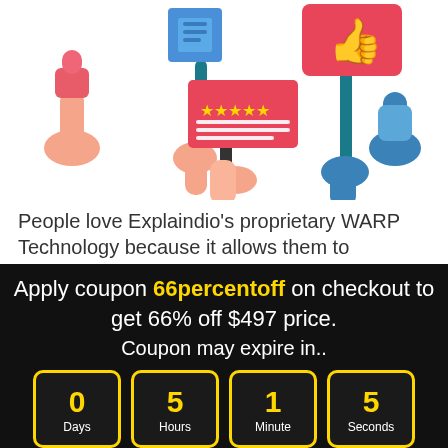[Figure (illustration): Colorful illustration of multiple hands holding up signs and placards — including a blue square sign, a red thumbs-up sign, a teal pole, and a pink/red star-rating card with five stars and white lines, on white background.]
People love Explaindio's proprietary WARP Technology because it allows them to combine
Apply coupon 66percentoff on checkout to get 66% off $497 price. Coupon may expire in..
0 Days | 5 Hours | 1 Minute | 5 Seconds